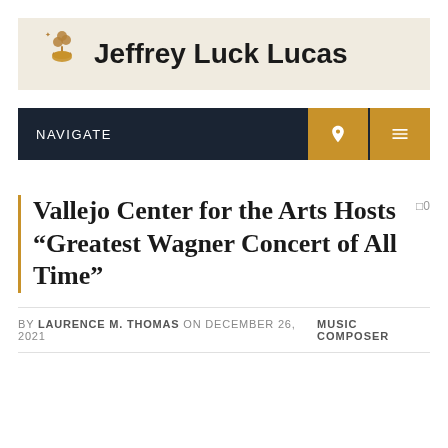Jeffrey Luck Lucas
NAVIGATE
Vallejo Center for the Arts Hosts “Greatest Wagner Concert of All Time”
BY LAURENCE M. THOMAS ON DECEMBER 26, 2021   MUSIC COMPOSER